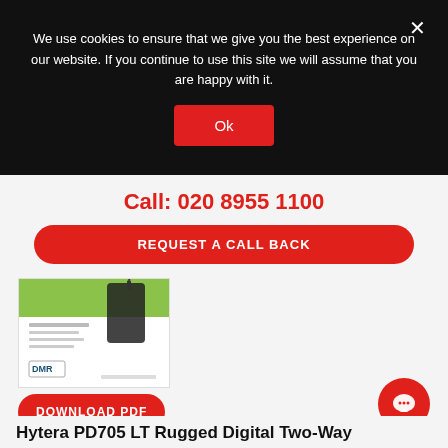We use cookies to ensure that we give you the best experience on our website. If you continue to use this site we will assume that you are happy with it.
Ok
Call: 020 8955 1100
REQUEST A CALL BACK
[Figure (illustration): Product brochure cover showing a Hytera PD705 LT digital two-way radio on a green/white background with DMR logo]
DOWNLOAD PDF
Hytera PD705 LT Rugged Digital Two-Way